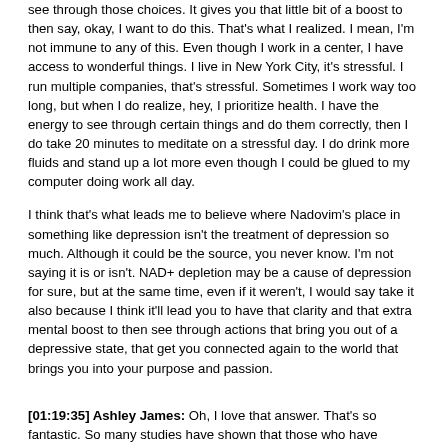see through those choices. It gives you that little bit of a boost to then say, okay, I want to do this. That's what I realized. I mean, I'm not immune to any of this. Even though I work in a center, I have access to wonderful things. I live in New York City, it's stressful. I run multiple companies, that's stressful. Sometimes I work way too long, but when I do realize, hey, I prioritize health. I have the energy to see through certain things and do them correctly, then I do take 20 minutes to meditate on a stressful day. I do drink more fluids and stand up a lot more even though I could be glued to my computer doing work all day.
I think that's what leads me to believe where Nadovim's place in something like depression isn't the treatment of depression so much. Although it could be the source, you never know. I'm not saying it is or isn't. NAD+ depletion may be a cause of depression for sure, but at the same time, even if it weren't, I would say take it also because I think it'll lead you to have that clarity and that extra mental boost to then see through actions that bring you out of a depressive state, that get you connected again to the world that brings you into your purpose and passion.
[01:19:35] Ashley James: Oh, I love that answer. That's so fantastic. So many studies have shown that those who have depression or even suicidal, if they volunteer, they find that they get more joy and more out of volunteering than what they're actually giving. We think volunteering is almost like being a martyr. Oh, I have to give away my time and my energy. But really, you actually get back more. It's just amazing. You can make an impact on the world and then that is helping you even more. There are so many studies that